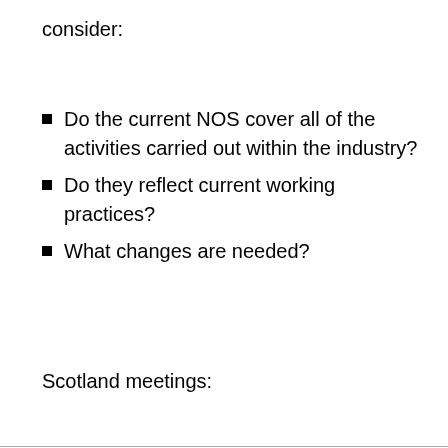consider:
Do the current NOS cover all of the activities carried out within the industry?
Do they reflect current working practices?
What changes are needed?
Scotland meetings: